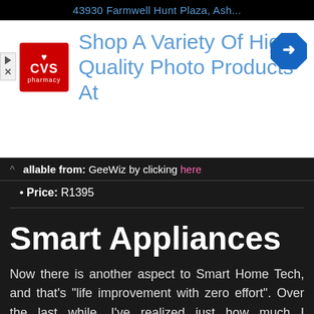[Figure (screenshot): CVS Pharmacy advertisement banner with text 'Shop A Variety Of High Quality Photo Products At' and navigation icon, above '43930 Farmwell Hunt Plaza, Ash...' address bar]
Available from: GeeWiz by clicking here
Price: R1395
Smart Appliances
Now there is another aspect to Smart Home Tech, and that's “life improvement with zero effort”. Over the last while, I’ve realized just how much I appreciate clean and safe environments that require no input from me, and that’s where these following devices come into play: